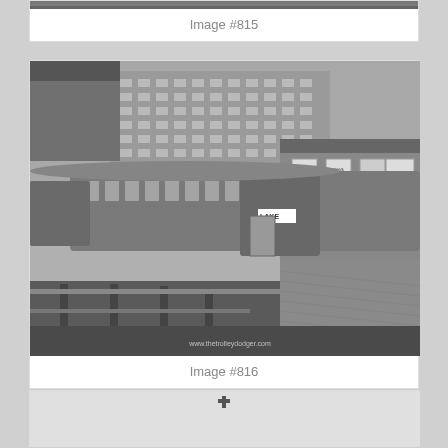[Figure (photo): Black and white photograph partially visible at top of page (cropped, only bottom strip visible)]
Image #815
[Figure (photo): Black and white photograph of a vintage Chicago L train (marked LAKE) at an elevated station platform, with tall buildings in background and advertising posters on station wall. Watermark: www.thetrolleydodger.com]
Image #816
[Figure (photo): Black and white photograph partially visible at bottom of page (cropped, only top strip visible), showing a light/misty scene with a small dark object near top center]